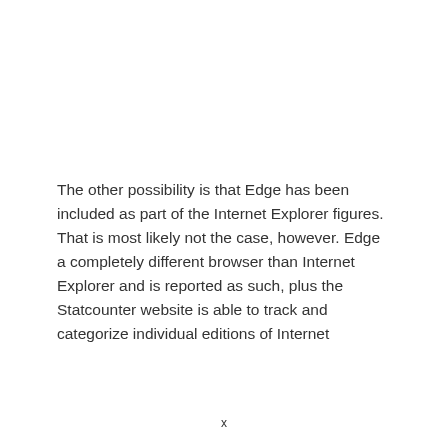The other possibility is that Edge has been included as part of the Internet Explorer figures. That is most likely not the case, however. Edge a completely different browser than Internet Explorer and is reported as such, plus the Statcounter website is able to track and categorize individual editions of Internet
x